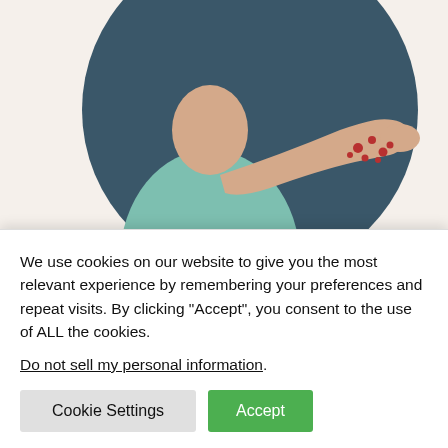[Figure (illustration): Illustration of a person showing their arm/hand with red spots (monkeypox rash), set against a dark teal circular background]
What You Need to Know about Monkeypox if You are a Teen or Young Adult | Monkeypox |
We use cookies on our website to give you the most relevant experience by remembering your preferences and repeat visits. By clicking “Accept”, you consent to the use of ALL the cookies.
Do not sell my personal information.